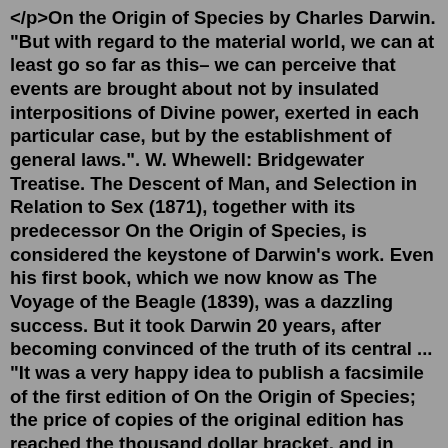</p>On the Origin of Species by Charles Darwin. "But with regard to the material world, we can at least go so far as this– we can perceive that events are brought about not by insulated interpositions of Divine power, exerted in each particular case, but by the establishment of general laws.". W. Whewell: Bridgewater Treatise. The Descent of Man, and Selection in Relation to Sex (1871), together with its predecessor On the Origin of Species, is considered the keystone of Darwin's work. Even his first book, which we now know as The Voyage of the Beagle (1839), was a dazzling success. But it took Darwin 20 years, after becoming convinced of the truth of its central ... "It was a very happy idea to publish a facsimile of the first edition of On the Origin of Species; the price of copies of the original edition has reached the thousand dollar bracket, and in contemporary literature all page-references are to the original pagination, which was not followed in previous reprints of the first edition.Now, with this very reasonably priced and beautifully produced